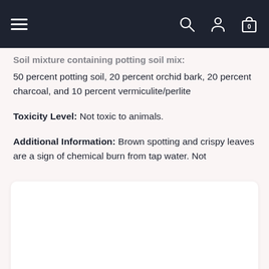Navigation bar with hamburger menu, search, account, and cart icons
Soil mixture containing potting soil mix:
50 percent potting soil, 20 percent orchid bark, 20 percent charcoal, and 10 percent vermiculite/perlite
Toxicity Level: Not toxic to animals.
Additional Information: Brown spotting and crispy leaves are a sign of chemical burn from tap water. Not